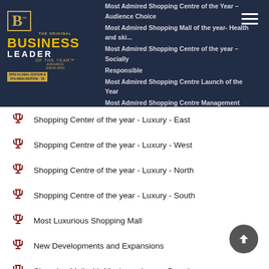[Figure (logo): The Original Business Leader of the Year Awards logo — gold 'B' in bordered box, gold 'BUSINESS' text, white 'LEADER' text, gold 'OF THE YEAR™ AWARDS' text with badge.]
Shopping Center of the year - Luxury - East
Shopping Centre of the year - Luxury - West
Shopping Centre of the year - Luxury - North
Shopping Centre of the year - Luxury - South
Most Luxurious Shopping Mall
New Developments and Expansions
Shopping Mall with Maximum Luxury Brands
Best Shopping Mall with Maximum International Brands
Best Food Court in a shopping Mall
Best Social Media Campaign of the Year
Best Digital Marketing Campaign of the year